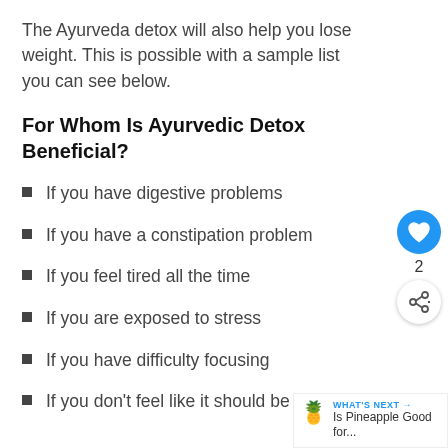The Ayurveda detox will also help you lose weight. This is possible with a sample list you can see below.
For Whom Is Ayurvedic Detox Beneficial?
If you have digestive problems
If you have a constipation problem
If you feel tired all the time
If you are exposed to stress
If you have difficulty focusing
If you don't feel like it should be